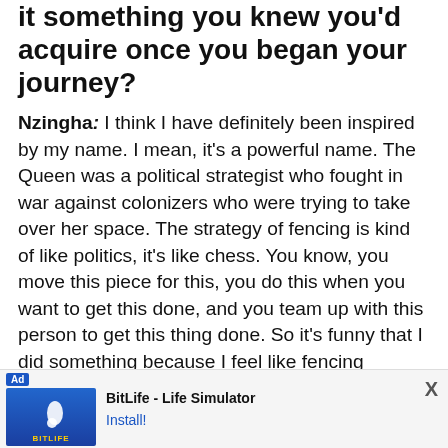it something you knew you'd acquire once you began your journey?
Nzingha: I think I have definitely been inspired by my name. I mean, it's a powerful name. The Queen was a political strategist who fought in war against colonizers who were trying to take over her space. The strategy of fencing is kind of like politics, it's like chess. You know, you move this piece for this, you do this when you want to get this done, and you team up with this person to get this thing done. So it's funny that I did something because I feel like fencing prepared me for this life of.
I'm trying to find my footing in the world post competition. I did this thing like I saw people around the world with fencing and I thought I represented a black
[Figure (screenshot): Ad banner for BitLife - Life Simulator with Install button and close X]